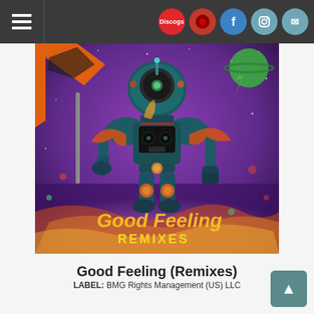Navigation bar with hamburger menu and social icons (Discogs, Facebook, Instagram, Email)
[Figure (illustration): Album artwork for 'Good Feeling Remixes' showing a robot/astronaut figure in a space scene with psychedelic purple background, orange/teal color scheme, holding a flag. Text reads 'Good Feeling REMIXES' in stylized lettering.]
Good Feeling (Remixes)
LABEL: BMG Rights Management (US) LLC